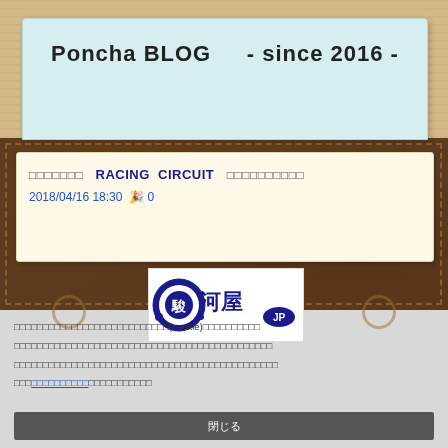Poncha BLOG    - since 2016 -
□□□□□□□   RACING CIRCUIT   □□□□□□□□□□
2018/04/16 18:30  🎉 0
[Figure (logo): 駿河屋.jp logo - circular Japanese text logo with 駿河屋 characters]
□□□□□□□□□□□□□□□□□□□□□□□□□□□(cookie)□□□□□□□□□□ □□□□□□□□□□□□□□□□□□□□□□□□□□□□□□□□□□□□□□□□□□□□ □□□□□□□□□□□□□□□□□□□□□□□□□□□□□□□□□□□□□□□□□□□□□ □□□□□□□□□□□□□□□□□□□□□
閉じる